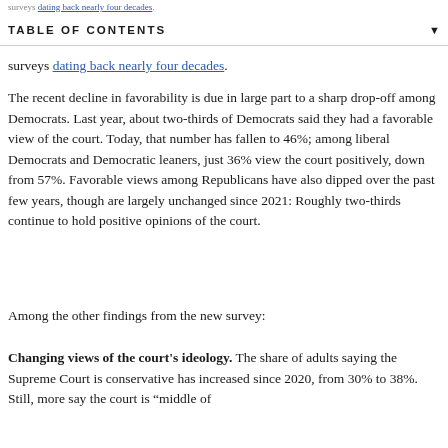surveys dating back nearly four decades.
TABLE OF CONTENTS
The recent decline in favorability is due in large part to a sharp drop-off among Democrats. Last year, about two-thirds of Democrats said they had a favorable view of the court. Today, that number has fallen to 46%; among liberal Democrats and Democratic leaners, just 36% view the court positively, down from 57%. Favorable views among Republicans have also dipped over the past few years, though are largely unchanged since 2021: Roughly two-thirds continue to hold positive opinions of the court.
Among the other findings from the new survey:
Changing views of the court's ideology. The share of adults saying the Supreme Court is conservative has increased since 2020, from 30% to 38%. Still, more say the court is "middle of